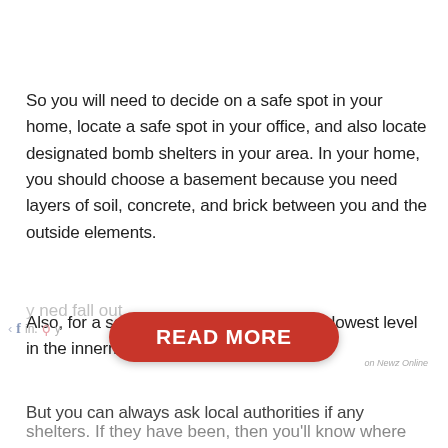So you will need to decide on a safe spot in your home, locate a safe spot in your office, and also locate designated bomb shelters in your area. In your home, you should choose a basement because you need layers of soil, concrete, and brick between you and the outside elements.
Also, for a school, you'll want to go to the lowest level in the innermost room.
But you can always ask local authorities if any
[Figure (other): Red pill-shaped 'READ MORE' button overlaid on partially visible text about fall out shelters, with social media icons (Facebook, Pinterest) visible at the bottom left and 'on Newz Online' label at bottom right]
shelters. If they have been, then you'll know where